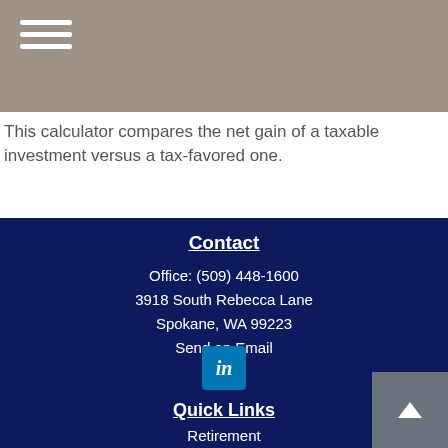This calculator compares the net gain of a taxable investment versus a tax-favored one.
Contact
Office: (509) 448-1600
3918 South Rebecca Lane
Spokane, WA 99223
Send an Email
[Figure (logo): LinkedIn icon button]
Quick Links
Retirement
Investment
Estate